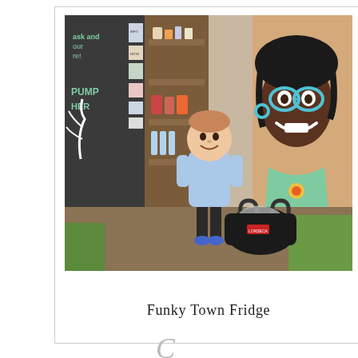[Figure (photo): A young boy in a light blue t-shirt and dark shorts standing in front of a community fridge with colorful murals painted on it, including a cartoon face on the right door. There is a black bag on the ground nearby. Behind him is a shelving unit with food items. On the left is a dark wall with painted text and a chalkboard.]
Funky Town Fridge